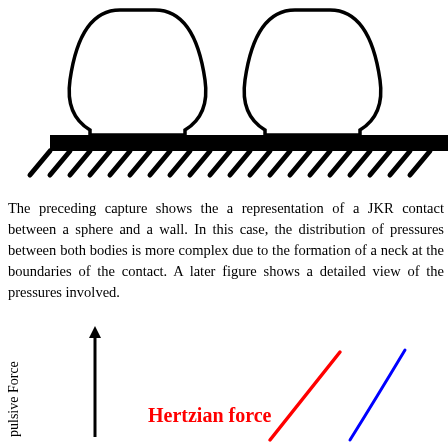[Figure (schematic): JKR contact diagram showing a sphere pressed against a hatched wall surface, with the sphere creating a neck/indentation at the contact boundary.]
The preceding capture shows the a representation of a JKR contact between a sphere and a wall. In this case, the distribution of pressures between both bodies is more complex due to the formation of a neck at the boundaries of the contact. A later figure shows a detailed view of the pressures involved.
[Figure (continuous-plot): Graph showing Repulsive Force (y-axis, arrow pointing up) vs. unnamed x-axis. Two curves are shown: a red curve labeled 'Hertzian force' and a blue curve, both showing upward trends from lower-left to upper-right.]